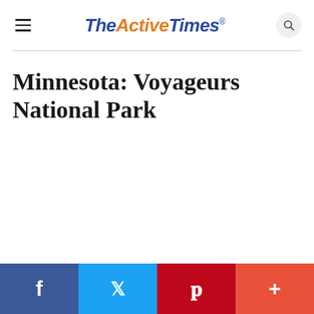TheActiveTimes
Minnesota: Voyageurs National Park
Facebook | Twitter | Pinterest | More